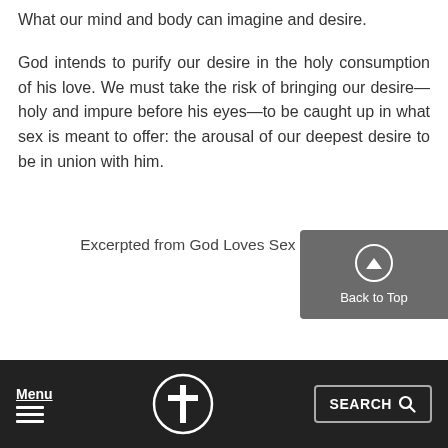What our mind and body can imagine and desire.
God intends to purify our desire in the holy consumption of his love. We must take the risk of bringing our desire—holy and impure before his eyes—to be caught up in what sex is meant to offer: the arousal of our deepest desire to be in union with him.
Excerpted from God Loves Sex by Dan B.
Menu | Cross icon | SEARCH